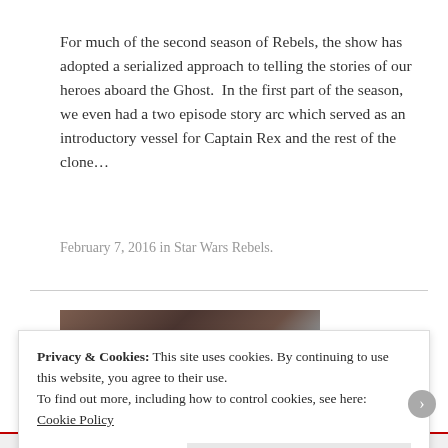For much of the second season of Rebels, the show has adopted a serialized approach to telling the stories of our heroes aboard the Ghost.  In the first part of the season, we even had a two episode story arc which served as an introductory vessel for Captain Rex and the rest of the clone...
February 7, 2016 in Star Wars Rebels.
[Figure (photo): Partial dark image, appears to show an interior scene with vertical forms visible]
Privacy & Cookies: This site uses cookies. By continuing to use this website, you agree to their use.
To find out more, including how to control cookies, see here:
Cookie Policy
Close and accept